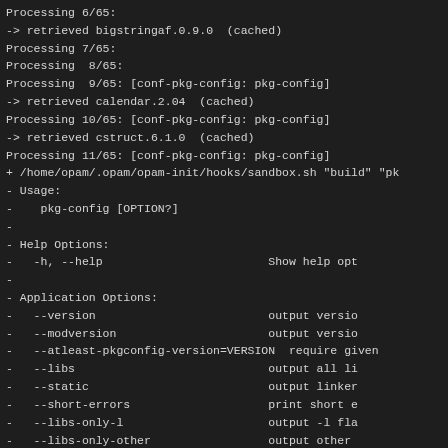Processing 6/65:
-> retrieved bigstringaf.0.9.0  (cached)
Processing 7/65:
Processing 8/65:
Processing 9/65: [conf-pkg-config: pkg-config]
-> retrieved calendar.2.04  (cached)
Processing 10/65: [conf-pkg-config: pkg-config]
-> retrieved cstruct.6.1.0  (cached)
Processing 11/65: [conf-pkg-config: pkg-config]
+ /home/opam/.opam/opam-init/hooks/sandbox.sh "build" "pk
- Usage:
-    pkg-config [OPTION?]
-
- Help Options:
-   -h, --help                                        Show help opt
-
- Application Options:
-   --version                                         output versio
-   --modversion                                      output versio
-   --atleast-pkgconfig-version=VERSION               require given
-   --libs                                            output all li
-   --static                                          output linker
-   --short-errors                                    print short e
-   --libs-only-l                                     output -l fla
-   --libs-only-other                                 output other
-   --libs-only-L                                     output -L fla
-   --cflags                                          output all pr
-   --cflags-only-I                                   output -I fla
-   --cflags-only-other                               output cflags
-   --variable=NAME                                   get the value